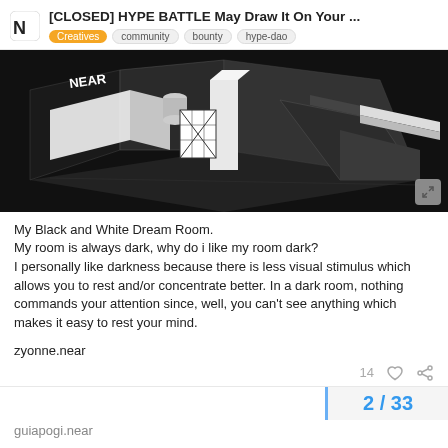[CLOSED] HYPE BATTLE May Draw It On Your ... | Creatives community bounty hype-dao
[Figure (illustration): Isometric black and white 3D illustration of a dark room with architectural elements, labeled NEAR, showing a minimalist dark interior scene with white geometric shapes and structural elements.]
My Black and White Dream Room.
My room is always dark, why do i like my room dark?
I personally like darkness because there is less visual stimulus which allows you to rest and/or concentrate better. In a dark room, nothing commands your attention since, well, you can't see anything which makes it easy to rest your mind.
zyonne.near
14
2 / 33
guiapogi.near